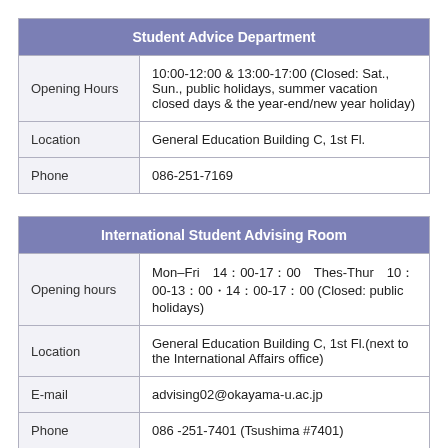| Student Advice Department |  |
| --- | --- |
| Opening Hours | 10:00-12:00 & 13:00-17:00 (Closed: Sat., Sun., public holidays, summer vacation closed days & the year-end/new year holiday) |
| Location | General Education Building C, 1st Fl. |
| Phone | 086-251-7169 |
| International Student Advising Room |  |
| --- | --- |
| Opening hours | Mon–Fri　14：00-17：00　Thes-Thur　10：00-13：00・14：00-17：00 (Closed: public holidays) |
| Location | General Education Building C, 1st Fl.(next to the International Affairs office) |
| E-mail | advising02@okayama-u.ac.jp |
| Phone | 086 -251-7401 (Tsushima #7401) |